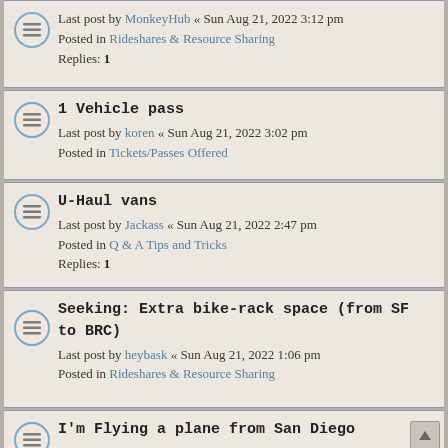Last post by MonkeyHub « Sun Aug 21, 2022 3:12 pm
Posted in Rideshares & Resource Sharing
Replies: 1
1 Vehicle pass
Last post by koren « Sun Aug 21, 2022 3:02 pm
Posted in Tickets/Passes Offered
U-Haul vans
Last post by Jackass « Sun Aug 21, 2022 2:47 pm
Posted in Q & A Tips and Tricks
Replies: 1
Seeking: Extra bike-rack space (from SF to BRC)
Last post by heybask « Sun Aug 21, 2022 1:06 pm
Posted in Rideshares & Resource Sharing
I'm Flying a plane from San Diego
Last post by Bigpilot « Sun Aug 21, 2022 11:48 am
Posted in Rideshares & Resource Sharing
Charge controller rec for LiFePO4 Deep Cycle Battery
Last post by HarryN « Sun Aug 21, 2022 10:44 am